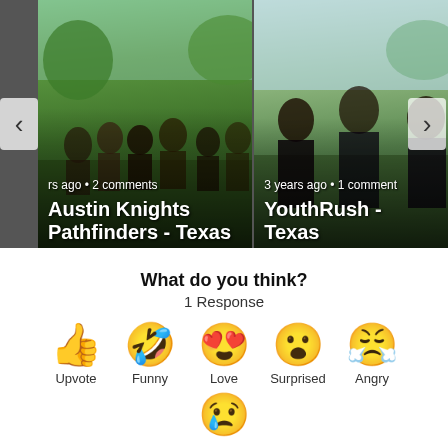[Figure (screenshot): Carousel card: group photo with text overlay 'Austin Knights Pathfinders - Texas', 2 comments]
[Figure (screenshot): Carousel card: group photo with text overlay 'YouthRush - Texas', 3 years ago, 1 comment]
What do you think?
1 Response
[Figure (infographic): Reaction buttons: Upvote (thumbs up), Funny (laughing face), Love (heart eyes), Surprised (wow face), Angry (angry face), Sad (crying face)]